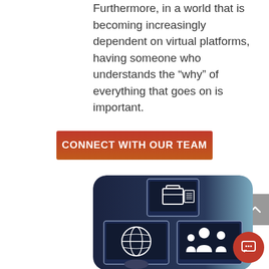Furthermore, in a world that is becoming increasingly dependent on virtual platforms, having someone who understands the “why” of everything that goes on is important.
CONNECT WITH OUR TEAM
[Figure (illustration): Dark rounded-corner panel showing three monitor screens with white icons: a briefcase/document icon on top center screen, a globe icon on bottom-left screen, and a family (adult with child) icon on bottom-right screen. Blue-grey gradient background.]